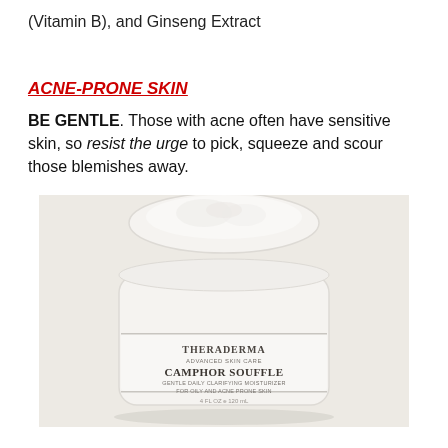(Vitamin B), and Ginseng Extract
ACNE-PRONE SKIN
BE GENTLE. Those with acne often have sensitive skin, so resist the urge to pick, squeeze and scour those blemishes away.
[Figure (photo): A white jar of TheraDerma Camphor Souffle cream product with lid open, showing white creamy texture inside, on a light background.]